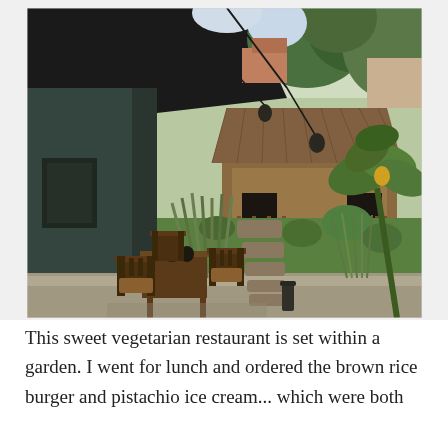[Figure (photo): Outdoor garden restaurant setting with wooden chairs and tables on a concrete patio, a stone stepping-stone path through lush green grass, tropical plants and trees, and a traditional wooden stilt house in the background. The scene is shadowed by a dark overhead canopy structure on the left.]
This sweet vegetarian restaurant is set within a garden. I went for lunch and ordered the brown rice burger and pistachio ice cream... which were both